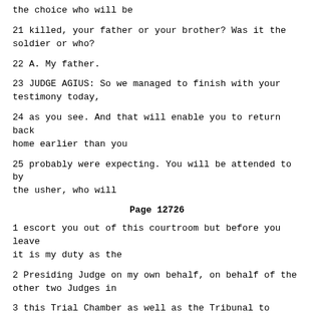the choice who will be
21 killed, your father or your brother? Was it the soldier or who?
22 A. My father.
23 JUDGE AGIUS: So we managed to finish with your testimony today,
24 as you see. And that will enable you to return back home earlier than you
25 probably were expecting. You will be attended to by the usher, who will
Page 12726
1 escort you out of this courtroom but before you leave it is my duty as the
2 Presiding Judge on my own behalf, on behalf of the other two Judges in
3 this Trial Chamber as well as the Tribunal to thank you for having
4 accepted to come and give evidence. You may now leave and I wish you a
5 safe journey back home.